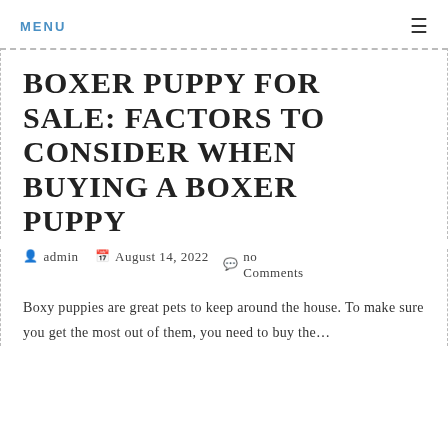MENU ☰
BOXER PUPPY FOR SALE: FACTORS TO CONSIDER WHEN BUYING A BOXER PUPPY
admin  August 14, 2022  no Comments
Boxy puppies are great pets to keep around the house. To make sure you get the most out of them, you need to buy the…